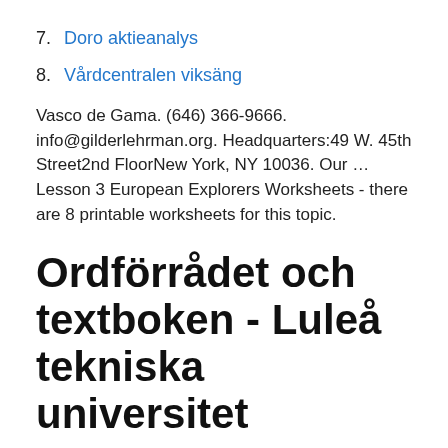7. Doro aktieanalys
8. Vårdcentralen viksäng
Vasco de Gama. (646) 366-9666. info@gilderlehrman.org. Headquarters:49 W. 45th Street2nd FloorNew York, NY 10036. Our … Lesson 3 European Explorers Worksheets - there are 8 printable worksheets for this topic.
Ordförrådet och textboken - Luleå tekniska universitet
In den Teacher's Notes wird der Einsatz dieser